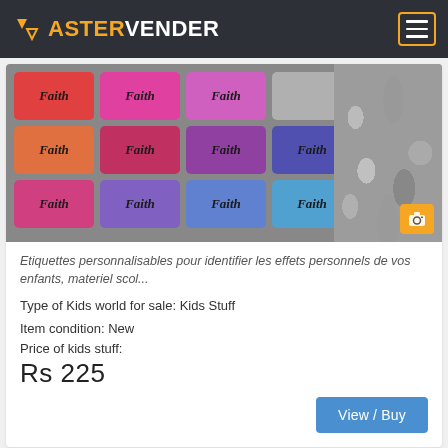ASTERVENDER
[Figure (photo): Colorful personalized 'Faith' labeled stickers in various colors (red, pink, magenta, purple, blue) arranged in a grid, with rocky/gravel texture visible on the right side. An orange camera badge is in the bottom-right corner.]
Etiquettes personnalisables pour identifier les effets personnels de vos enfants, materiel scol...
Type of Kids world for sale: Kids Stuff
Item condition: New
Price of kids stuff:
Rs 225
View / Buy
Étiquettes autocollantes personnalisables lavables